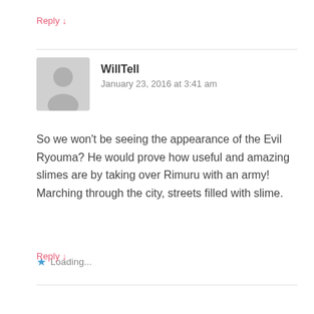Reply ↓
[Figure (illustration): Generic user avatar placeholder — grey silhouette of a person on a light grey background]
WillTell
January 23, 2016 at 3:41 am
So we won't be seeing the appearance of the Evil Ryouma? He would prove how useful and amazing slimes are by taking over Rimuru with an army! Marching through the city, streets filled with slime.
Loading...
Reply ↓